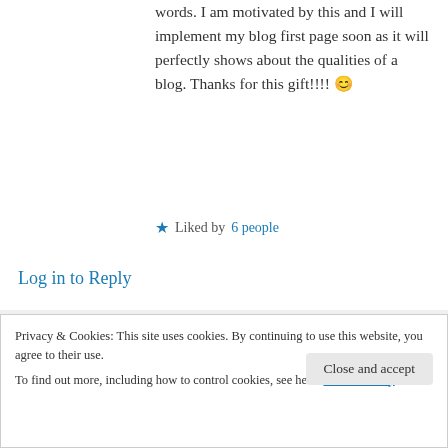words. I am motivated by this and I will implement my blog first page soon as it will perfectly shows about the qualities of a blog. Thanks for this gift!!!! 😊
★ Liked by 6 people
Log in to Reply
Didis Art Design on 21/06/2017 at 17:57
👍 0 👎 0 ℹ Rate This
Privacy & Cookies: This site uses cookies. By continuing to use this website, you agree to their use. To find out more, including how to control cookies, see here: Cookie Policy
Close and accept
Didi